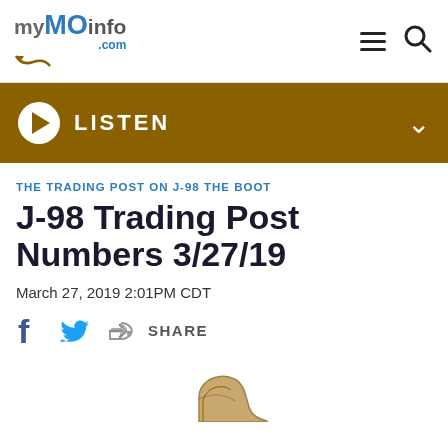myMOinfo.com
[Figure (infographic): Gold/brown audio player bar with white play button circle, LISTEN label in white bold text, and chevron down arrow on the right]
THE TRADING POST ON J-98 THE BOOT
J-98 Trading Post Numbers 3/27/19
March 27, 2019 2:01PM CDT
[Figure (infographic): Social sharing row with Facebook icon, Twitter bird icon, share arrow icon and SHARE label]
[Figure (illustration): Partial cowboy boot illustration at the bottom of the page]